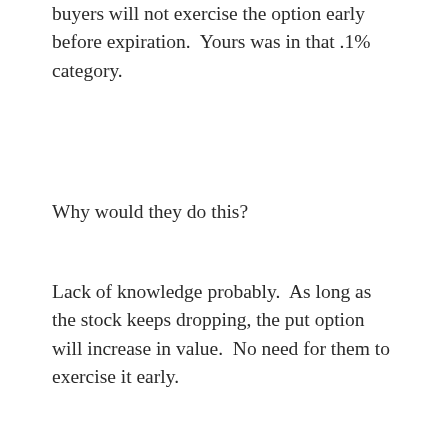buyers will not exercise the option early before expiration.  Yours was in that .1% category.
Why would they do this?
Lack of knowledge probably.  As long as the stock keeps dropping, the put option will increase in value.  No need for them to exercise it early.
Anyway, now they hold short shares in GT while you hold long shares.  If the price moves up, you win and they lose.